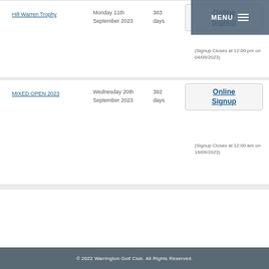Hill Warren Trophy — Monday 11th September 2023 — 383 days — Online Signup (Signup Closes at 12:00 pm on 04/09/2023)
MIXED OPEN 2023 — Wednesday 20th September 2023 — 392 days — Online Signup (Signup Closes at 12:00 am on 18/09/2023)
Previous Opens
© 2022 Warrington Golf Club. All Rights Reserved.